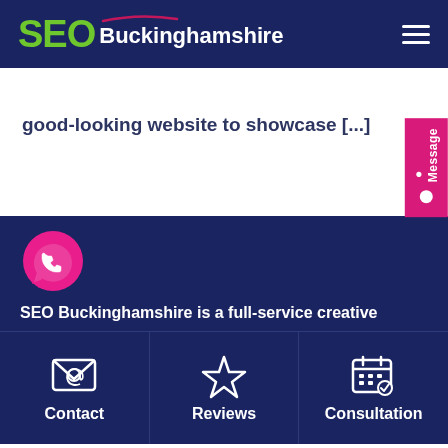SEO Buckinghamshire
good-looking website to showcase [...]
[Figure (logo): WhatsApp phone bubble icon in pink/magenta]
SEO Buckinghamshire is a full-service creative
Contact
Reviews
Consultation